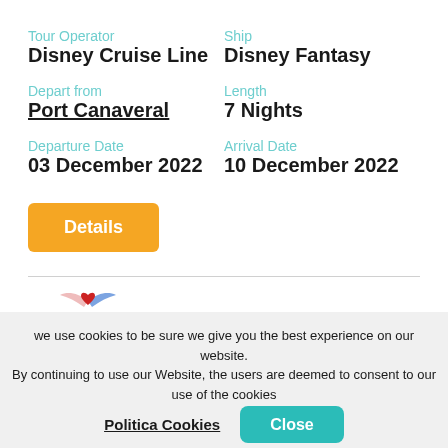Tour Operator
Disney Cruise Line
Ship
Disney Fantasy
Depart from
Port Canaveral
Length
7 Nights
Departure Date
03 December 2022
Arrival Date
10 December 2022
Details
[Figure (logo): Disney Cruise Line logo with stylized ship flag and text]
[Figure (other): Teal banner with arrow/chevron design]
we use cookies to be sure we give you the best experience on our website. By continuing to use our Website, the users are deemed to consent to our use of the cookies
Politica Cookies
Close